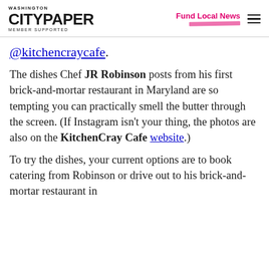WASHINGTON CITYPAPER MEMBER SUPPORTED | Fund Local News
@kitchencraycafe.
The dishes Chef JR Robinson posts from his first brick-and-mortar restaurant in Maryland are so tempting you can practically smell the butter through the screen. (If Instagram isn't your thing, the photos are also on the KitchenCray Cafe website.)
To try the dishes, your current options are to book catering from Robinson or drive out to his brick-and-mortar restaurant in